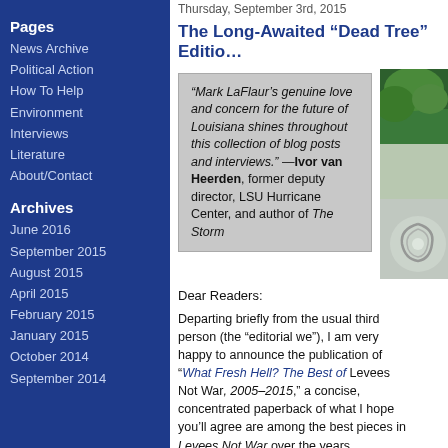Thursday, September 3rd, 2015
The Long-Awaited “Dead Tree” Edition
“Mark LaFlaur’s genuine love and concern for the future of Louisiana shines throughout this collection of blog posts and interviews.” —Ivor van Heerden, former deputy director, LSU Hurricane Center, and author of The Storm
[Figure (photo): Satellite image of a hurricane/storm swirl and green landscape on the right side of the page]
Dear Readers:
Departing briefly from the usual third person (the “editorial we”), I am very happy to announce the publication of “What Fresh Hell? The Best of Levees Not War, 2005–2015,” a concise, concentrated paperback of what I hope you’ll agree are among the best pieces in Levees Not War over the years
Pages
News Archive
Political Action
How To Help
Environment
Interviews
Literature
About/Contact
Archives
June 2016
September 2015
August 2015
April 2015
February 2015
January 2015
October 2014
September 2014